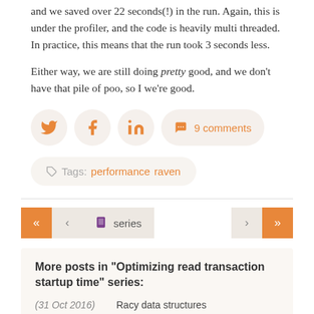and we saved over 22 seconds(!) in the run. Again, this is under the profiler, and the code is heavily multi threaded. In practice, this means that the run took 3 seconds less.
Either way, we are still doing pretty good, and we don't have that pile of poo, so I we're good.
[Figure (other): Social sharing buttons: Twitter bird icon circle, Facebook f icon circle, LinkedIn in icon circle, speech bubble icon with '9 comments' pill button]
Tags: performance  raven
[Figure (other): Navigation row with left orange double-arrow button, left light single-arrow button, series button with book icon and 'series' label, right light single-arrow button, right orange double-arrow button]
More posts in "Optimizing read transaction startup time" series:
(31 Oct 2016)   Racy data structures
(28 Oct 2016)   Every little bit helps, a LOT